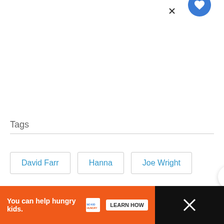Tags
David Farr
Hanna
Joe Wright
[Figure (infographic): Floating action buttons: heart/like button (blue circle), count '1', and share button (white circle with share icon)]
You can help hungry kids. NO KID HUNGRY LEARN HOW